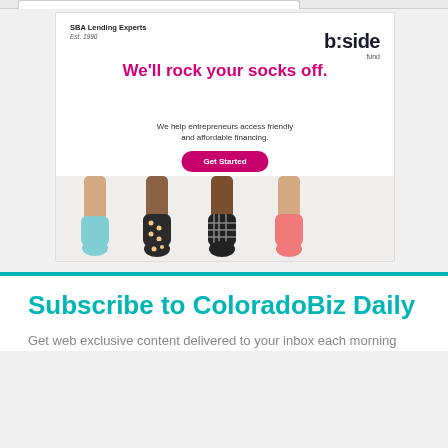[Figure (illustration): B:side Fund advertisement. Header shows 'SBA Lending Experts / Est. 1990' on the left and 'b:side fund' logo on the right. Large pink/magenta headline 'We'll rock your socks off.' with subtext 'We help entrepreneurs access friendly and affordable financing.' and a pink 'Get Started' button. Bottom portion shows legs wearing colorful socks (light blue, dark dotted, dark with pattern, pink/coral).]
Subscribe to ColoradoBiz Daily
Get web exclusive content delivered to your inbox each morning